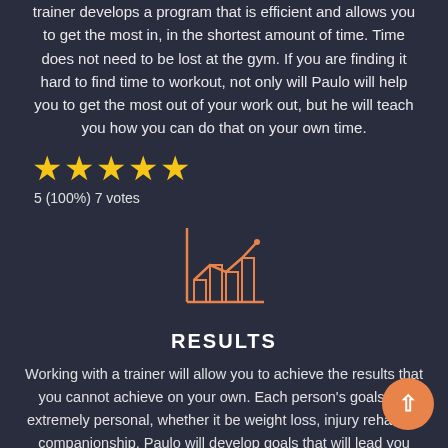trainer develops a program that is efficient and allows you to get the most in, in the shortest amount of time. Time does not need to be lost at the gym. If you are finding it hard to find time to workout, not only will Paulo will help you to get the most out of your work out, but he will teach you how you can do that on your own time.
[Figure (other): Five gold star rating icons arranged horizontally]
5 (100%) 7 votes
[Figure (other): Orange line chart icon with bar chart bars underneath, representing results/statistics]
RESULTS
Working with a trainer will allow you to achieve the results that you cannot achieve on your own. Each person's goals are extremely personal, whether it be weight loss, injury rehab, or companionship. Paulo will develop goals that will lead you down a path to success. Let a professional help you achieve your results!